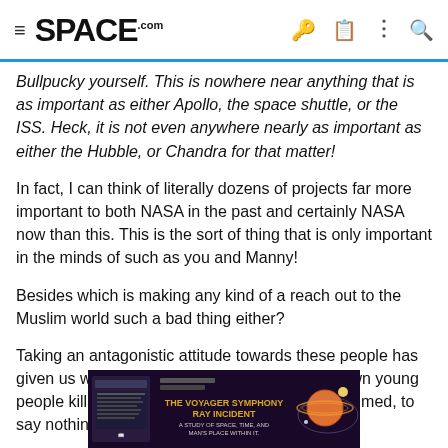SPACE.com
Bullpucky yourself. This is nowhere near anything that is as important as either Apollo, the space shuttle, or the ISS. Heck, it is not even anywhere nearly as important as either the Hubble, or Chandra for that matter!
In fact, I can think of literally dozens of projects far more important to both NASA in the past and certainly NASA now than this. This is the sort of thing that is only important in the minds of such as you and Manny!
Besides which is making any kind of a reach out to the Muslim world such a bad thing either?
Taking an antagonistic attitude towards these people has given us what so far? Some thousands of our own young people killed, and who knows just how many maimed, to say nothing of literally $trillions of dollars lost.
[Figure (illustration): Advertisement banner for 'The Voyager Symphony Ray Incident - A Study of Space, Time, and Man's Place Within It' with dark purple/navy background, planet imagery, and orbital lines]